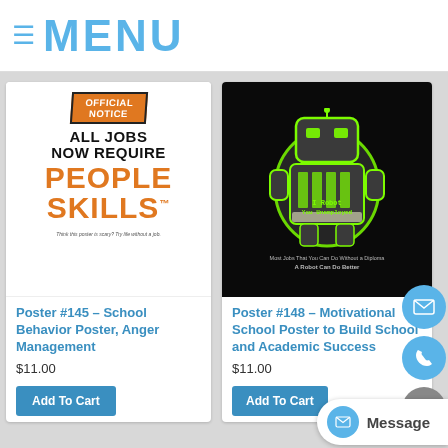≡ MENU
[Figure (illustration): Poster #145 - School Behavior Poster showing 'Official Notice: All Jobs Now Require People Skills' with orange and black text on white background]
Poster #145 – School Behavior Poster, Anger Management
$11.00
Add To Cart
[Figure (illustration): Poster #148 - 'I Robot You Unemployed' motivational school poster with green robot graphic on black background]
Poster #148 – Motivational School Poster to Build School and Academic Success
$11.00
Add To Cart